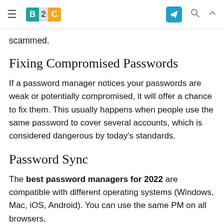≡  B2C  [telegram icon] [search icon] [chevron icon]
scammed.
Fixing Compromised Passwords
If a password manager notices your passwords are weak or potentially compromised, it will offer a chance to fix them. This usually happens when people use the same password to cover several accounts, which is considered dangerous by today's standards.
Password Sync
The best password managers for 2022 are compatible with different operating systems (Windows, Mac, iOS, Android). You can use the same PM on all browsers,